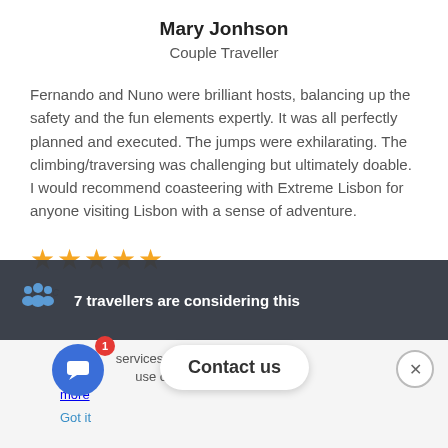Mary Jonhson
Couple Traveller
Fernando and Nuno were brilliant hosts, balancing up the safety and the fun elements expertly. It was all perfectly planned and executed. The jumps were exhilarating. The climbing/traversing was challenging but ultimately doable.
I would recommend coasteering with Extreme Lisbon for anyone visiting Lisbon with a sense of adventure.
[Figure (other): 5 orange star rating icons]
Marc
[Figure (infographic): Dark overlay bar showing '7 travellers are considering this' with a group people icon in blue]
[Figure (screenshot): Cookie consent bar with 'Contact us' button, chat icon with badge showing 1, and close button. Text: 'is h... services. By using our s, y... use of cookies. Learn more  Got it']